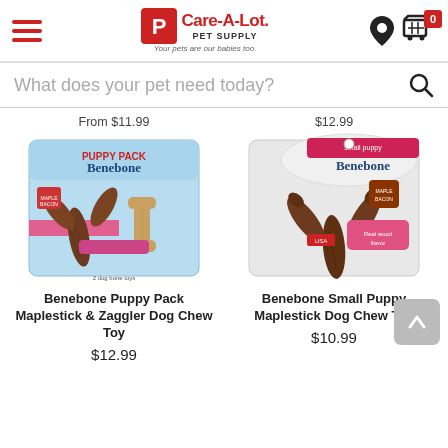Care-A-Lot Pet Supply — Your pets are our babies too.
What does your pet need today?
From $11.99
$12.99
[Figure (photo): Benebone Puppy Pack product image showing two chew toys (Maplestick and Zaggler) in packaging]
[Figure (photo): Benebone Small Puppy Maplestick Dog Chew Toy product image showing a wishbone-shaped chew toy in packaging]
Benebone Puppy Pack Maplestick & Zaggler Dog Chew Toy
Benebone Small Puppy Maplestick Dog Chew Toy
$12.99
$10.99